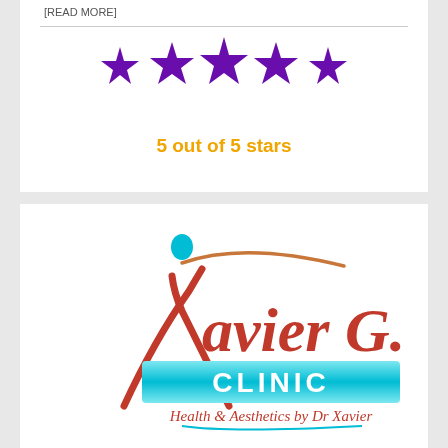[READ MORE]
[Figure (other): Five purple star rating icons arranged in a row]
5 out of 5 stars
[Figure (logo): Xavier G. Clinic logo — Health & Aesthetics by Dr Xavier, featuring red cursive text and a teal/cyan banner with white CLINIC text, with a small teal figure above the X]